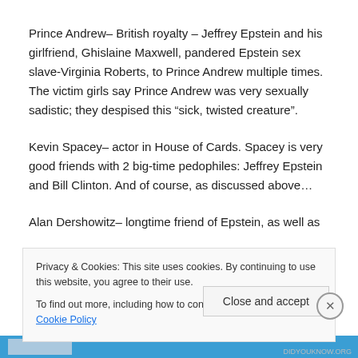Prince Andrew– British royalty – Jeffrey Epstein and his girlfriend, Ghislaine Maxwell, pandered Epstein sex slave-Virginia Roberts, to Prince Andrew multiple times. The victim girls say Prince Andrew was very sexually sadistic; they despised this "sick, twisted creature".
Kevin Spacey– actor in House of Cards. Spacey is very good friends with 2 big-time pedophiles: Jeffrey Epstein and Bill Clinton. And of course, as discussed above…
Alan Dershowitz– longtime friend of Epstein, as well as
Privacy & Cookies: This site uses cookies. By continuing to use this website, you agree to their use.
To find out more, including how to control cookies, see here: Cookie Policy
Close and accept